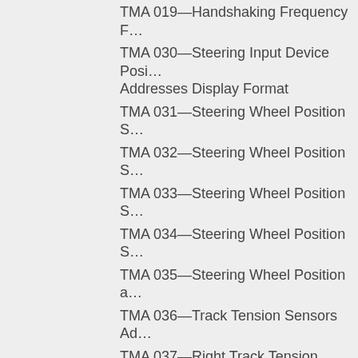TMA 019—Handshaking Frequency F…
TMA 030—Steering Input Device Posi… Addresses Display Format
TMA 031—Steering Wheel Position S…
TMA 032—Steering Wheel Position S…
TMA 033—Steering Wheel Position S…
TMA 034—Steering Wheel Position S…
TMA 035—Steering Wheel Position a…
TMA 036—Track Tension Sensors Ad…
TMA 037—Right Track Tension Senso…
TMA 038—Left Track Tension Sensor…
TMA 039—Track Tension High Limit S…
TMA 040—Factory Interlock
TMA 041—Steering Cross Shaft Spee… Display Format
TMA 042—Right Steering Cross Shaft… (Primary) Status
TMA 043—Right Steering Cross Shaft… (Secondary) Status